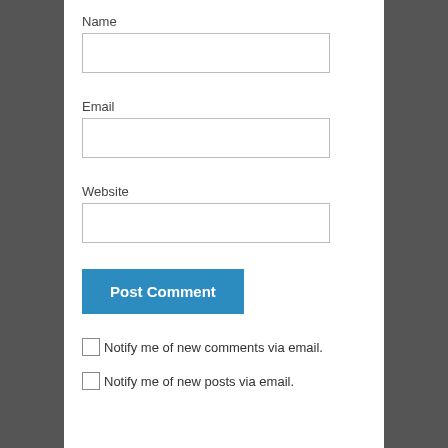Name
Email
Website
Post Comment
Notify me of new comments via email.
Notify me of new posts via email.
Follow Something about boys